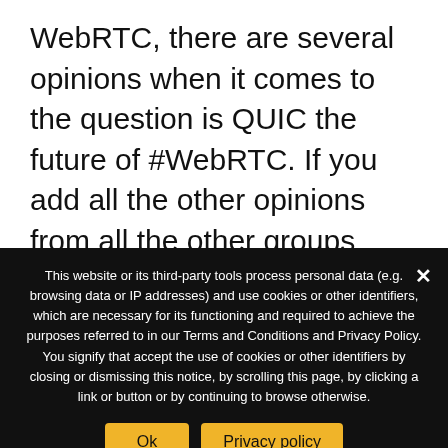WebRTC, there are several opinions when it comes to the question is QUIC the future of #WebRTC. If you add all the other opinions from all the other groups involved in QUIC, some of them cited above, that makes a lot of
This website or its third-party tools process personal data (e.g. browsing data or IP addresses) and use cookies or other identifiers, which are necessary for its functioning and required to achieve the purposes referred to in our Terms and Conditions and Privacy Policy. You signify that accept the use of cookies or other identifiers by closing or dismissing this notice, by scrolling this page, by clicking a link or button or by continuing to browse otherwise.